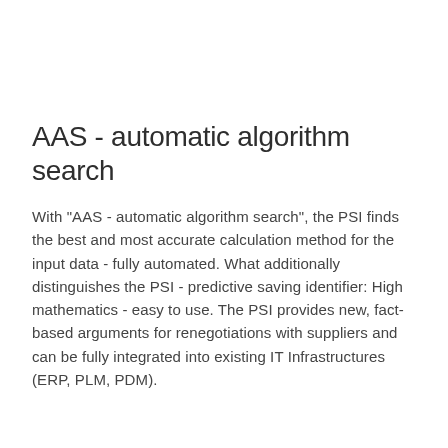AAS - automatic algorithm search
With "AAS - automatic algorithm search", the PSI finds the best and most accurate calculation method for the input data - fully automated. What additionally distinguishes the PSI - predictive saving identifier: High mathematics - easy to use. The PSI provides new, fact-based arguments for renegotiations with suppliers and can be fully integrated into existing IT Infrastructures (ERP, PLM, PDM).